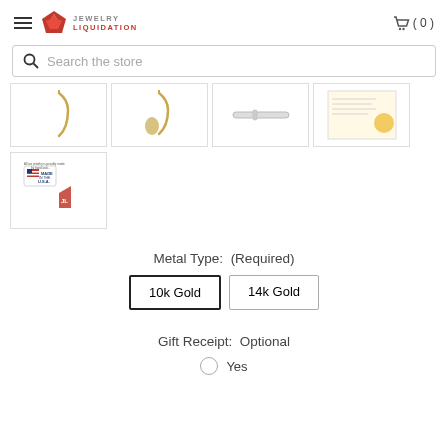Jewelry Liquidation — (0)
Search the store
[Figure (photo): Row of product thumbnail images: gold hook earring, gold hook with disc, silver bar/pin, product certificate card]
[Figure (photo): Made in the USA badge with JL logo]
Metal Type: (Required)
10k Gold
14k Gold
Gift Receipt: Optional
Yes